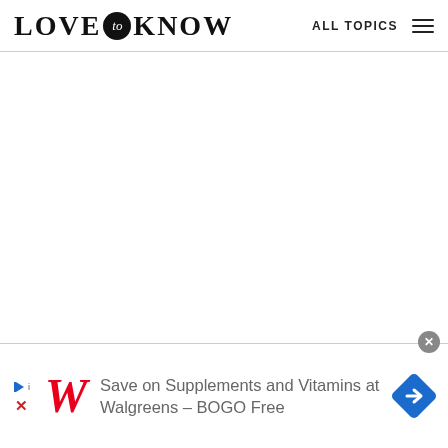LOVE to KNOW | ALL TOPICS
[Figure (other): Large blank white content area]
[Figure (other): Advertisement banner: Save on Supplements and Vitamins at Walgreens - BOGO Free, with Walgreens W logo and map pin icon]